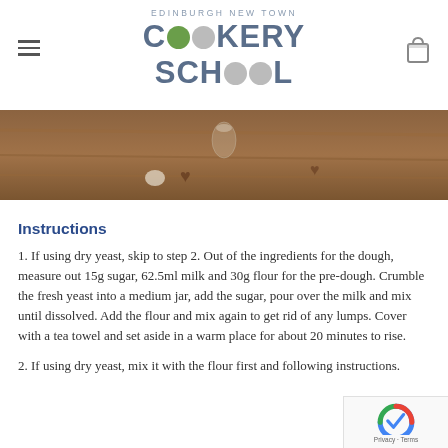EDINBURGH NEW TOWN COOKERY SCHOOL
[Figure (photo): Blurred photo of a wooden surface with heart-shaped decorations and glass jar, warm tones]
Instructions
1. If using dry yeast, skip to step 2. Out of the ingredients for the dough, measure out 15g sugar, 62.5ml milk and 30g flour for the pre-dough. Crumble the fresh yeast into a medium jar, add the sugar, pour over the milk and mix until dissolved. Add the flour and mix again to get rid of any lumps. Cover with a tea towel and set aside in a warm place for about 20 minutes to rise.
2. If using dry yeast, mix it with the flour first and follow instructions.